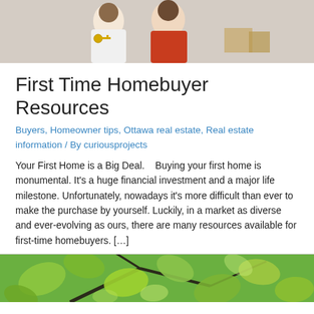[Figure (photo): Two people smiling, one holding up a key — appears to be a couple celebrating buying a home]
First Time Homebuyer Resources
Buyers, Homeowner tips, Ottawa real estate, Real estate information / By curiousprojects
Your First Home is a Big Deal.   Buying your first home is monumental. It's a huge financial investment and a major life milestone. Unfortunately, nowadays it's more difficult than ever to make the purchase by yourself. Luckily, in a market as diverse and ever-evolving as ours, there are many resources available for first-time homebuyers. […]
[Figure (photo): Close-up of bright green leaves on branches]